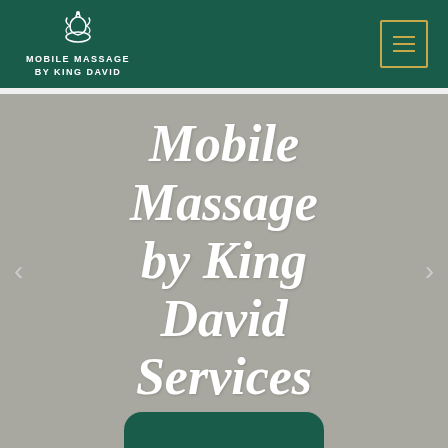MOBILE MASSAGE BY KING DAVID
Mobile Massage by King David Services
[Figure (illustration): CTA button at the bottom of the hero section, dark green rounded-top rectangle]